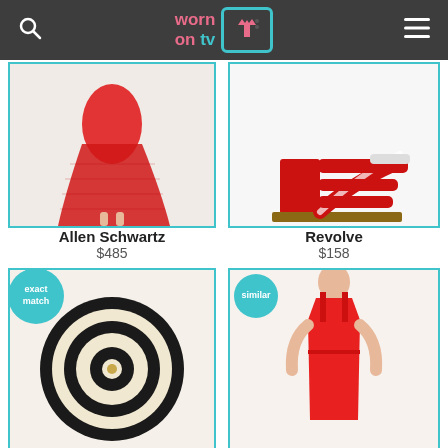worn on tv
[Figure (photo): Red lace maxi dress product photo]
[Figure (photo): Red block heel sandals product photo]
Allen Schwartz
$485
Revolve
$158
[Figure (photo): Black and white striped circular hat, exact match badge]
[Figure (photo): Red midi dress, similar badge]